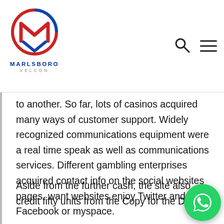[Figure (logo): Marlsboro Velcon company logo — circular emblem with stylized M/V mark in red and blue, with MARLSBORO in blue bold text and VELCON in grey small caps below]
to another. So far, lots of casinos acquired many ways of customer support. Widely recognized communications equipment were a real time speak as well as communications services. Different gambling enterprises acquired contact info on the social websites pages, want websites enjoy Twitter and also Facebook or myspace.
Aside from the further cash, the site also credit fifty units from the Copy for the Dead. Later on registering with MrPlay from our web